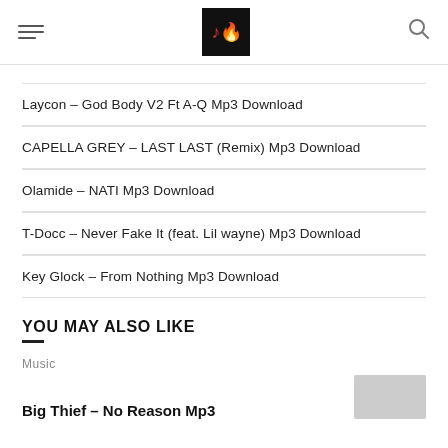[hamburger menu] [logo] [search icon]
Laycon – God Body V2 Ft A-Q Mp3 Download
CAPELLA GREY – LAST LAST (Remix) Mp3 Download
Olamide – NATI Mp3 Download
T-Docc – Never Fake It (feat. Lil wayne) Mp3 Download
Key Glock – From Nothing Mp3 Download
YOU MAY ALSO LIKE
Music
Big Thief – No Reason Mp3